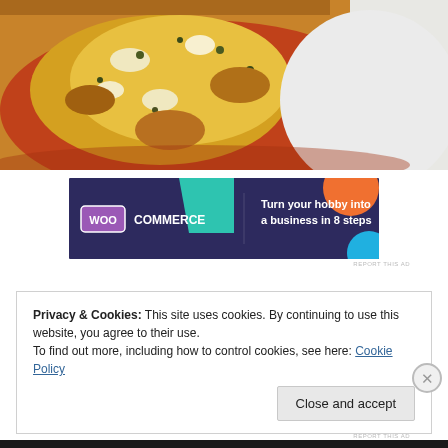[Figure (photo): Close-up photo of a baked tomato topped with melted cheese, herbs and seasoning on a white plate]
[Figure (infographic): WooCommerce advertisement banner: purple/dark background with teal triangle and orange circle graphics. WOO COMMERCE logo on left, text: Turn your hobby into a business in 8 steps]
REPORT THIS AD
Privacy & Cookies: This site uses cookies. By continuing to use this website, you agree to their use.
To find out more, including how to control cookies, see here: Cookie Policy
Close and accept
REPORT THIS AD